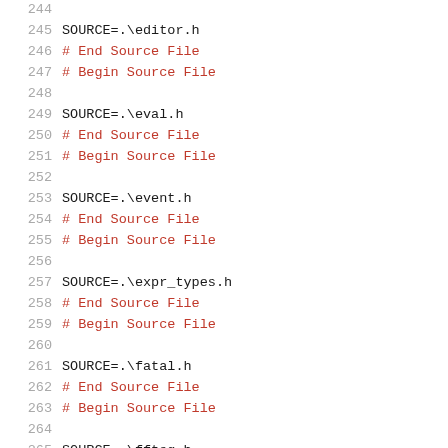244
245 SOURCE=.\editor.h
246 # End Source File
247 # Begin Source File
248
249 SOURCE=.\eval.h
250 # End Source File
251 # Begin Source File
252
253 SOURCE=.\event.h
254 # End Source File
255 # Begin Source File
256
257 SOURCE=.\expr_types.h
258 # End Source File
259 # Begin Source File
260
261 SOURCE=.\fatal.h
262 # End Source File
263 # Begin Source File
264
265 SOURCE=.\fftsg.h